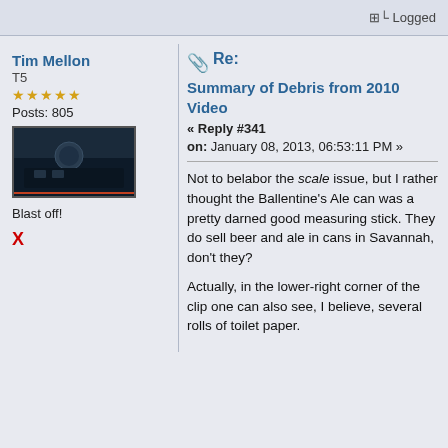Logged
Tim Mellon
T5
★★★★★
Posts: 805
[Figure (photo): Small thumbnail image, dark/blue toned scene]
Blast off!
X
Re:
Summary of Debris from 2010 Video
« Reply #341
on: January 08, 2013, 06:53:11 PM »
Not to belabor the scale issue, but I rather thought the Ballentine's Ale can was a pretty darned good measuring stick. They do sell beer and ale in cans in Savannah, don't they?

Actually, in the lower-right corner of the clip one can also see, I believe, several rolls of toilet paper.